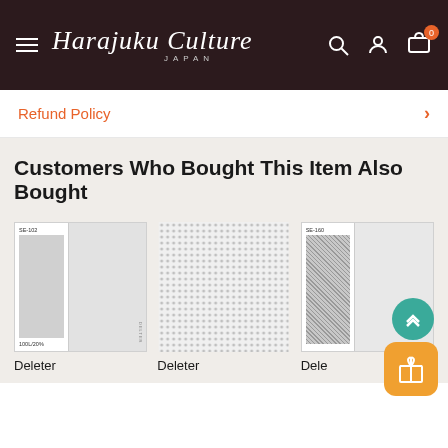Harajuku Culture JAPAN — navigation header with menu, search, account, and cart icons
Refund Policy
Customers Who Bought This Item Also Bought
[Figure (photo): Product card 1: Deleter screen tone SE-102, showing a small grey swatch labeled 100L/20% on the left and a large grey panel on the right]
Deleter
[Figure (photo): Product card 2: Deleter screen tone showing a dot/halftone pattern on off-white background]
Deleter
[Figure (photo): Product card 3: Deleter screen tone SE-160, showing a textured grey swatch on the left and a white panel on the right]
Dele…